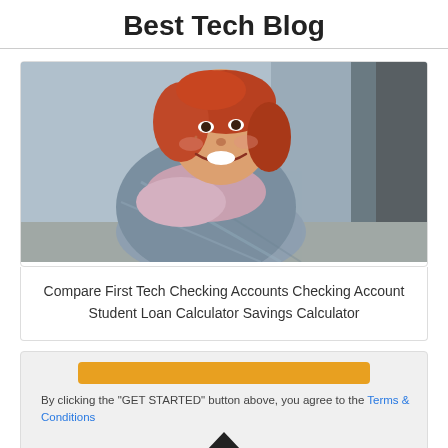Best Tech Blog
[Figure (photo): Smiling young woman with red hair wearing a plaid coat and pink scarf, photographed outdoors]
Compare First Tech Checking Accounts Checking Account Student Loan Calculator Savings Calculator
[Figure (screenshot): Advertisement card with an orange GET STARTED button, text 'By clicking the "GET STARTED" button above, you agree to the Terms & Conditions', and a CLOSE X button]
By clicking the "GET STARTED" button above, you agree to the Terms & Conditions